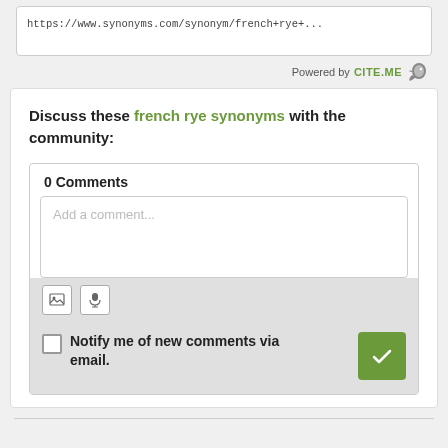https://www.synonyms.com/synonym/french+rye+...
Powered by CITE.ME
Discuss these french rye synonyms with the community:
0 Comments
Add a comment...
Notify me of new comments via email.